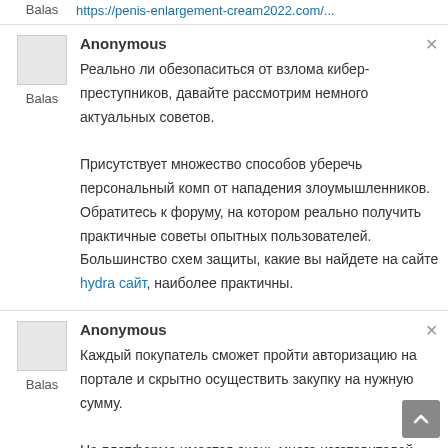https://penis-enlargement-cream2022.com/...
Balas
Anonymous
Реально ли обезопаситься от взлома кибер-преступников, давайте рассмотрим немного актуальных советов. Присутствует множество способов уберечь персональный комп от нападения злоумышленников. Обратитесь к форуму, на котором реально получить практичные советы опытных пользователей. Большинство схем защиты, какие вы найдете на сайте hydra сайт, наиболее практичны.
Balas
Anonymous
Каждый покупатель сможет пройти авторизацию на портале и скрытно осуществить закупку на нужную сумму. На платформе имеется очень много изготовителей проверенного продукта. Для регулярных покупателей как зайти через гидру будут дисконты. Гидра обеспечивает всем клиентам великолепный состав галжетов по
Balas